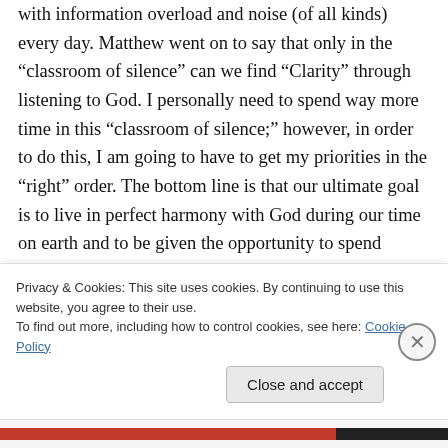with information overload and noise (of all kinds) every day. Matthew went on to say that only in the “classroom of silence” can we find “Clarity” through listening to God. I personally need to spend way more time in this “classroom of silence;” however, in order to do this, I am going to have to get my priorities in the “right” order. The bottom line is that our ultimate goal is to live in perfect harmony with God during our time on earth and to be given the opportunity to spend eternity with him when he comes again. We also
Privacy & Cookies: This site uses cookies. By continuing to use this website, you agree to their use.
To find out more, including how to control cookies, see here: Cookie Policy
Close and accept